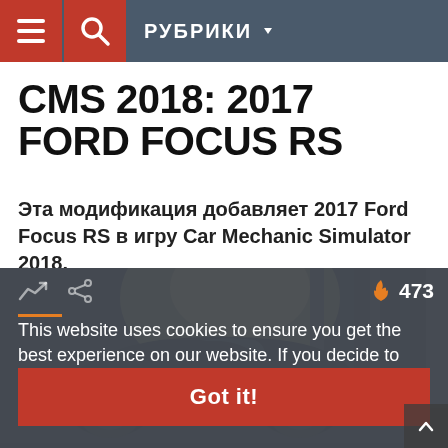РУБРИКИ
CMS 2018: 2017 FORD FOCUS RS
Эта модификация добавляет 2017 Ford Focus RS в игру Car Mechanic Simulator 2018.
[Figure (screenshot): Screenshot of a dark automotive garage scene with a car (Ford Focus RS) partially visible, with a cookie consent overlay dialog on top. Icons show trending and share symbols, fire icon with count 473. An orange accent line is visible.]
This website uses cookies to ensure you get the best experience on our website. If you decide to continue browsing this website, you automatically agree to our
Privacy Policy
Got it!